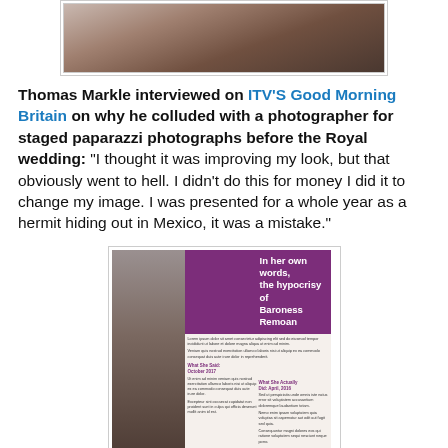[Figure (photo): Partial photo of a man, cropped at the top of the page, showing lower face and shoulders]
Thomas Markle interviewed on ITV'S Good Morning Britain on why he colluded with a photographer for staged paparazzi photographs before the Royal wedding: "I thought it was improving my look, but that obviously went to hell. I didn't do this for money I did it to change my image. I was presented for a whole year as a hermit hiding out in Mexico, it was a mistake."
[Figure (photo): Screenshot of a magazine article with purple header reading 'In her own words, the hypocrisy of Baroness Remoan' with a photo of a woman on the left side]